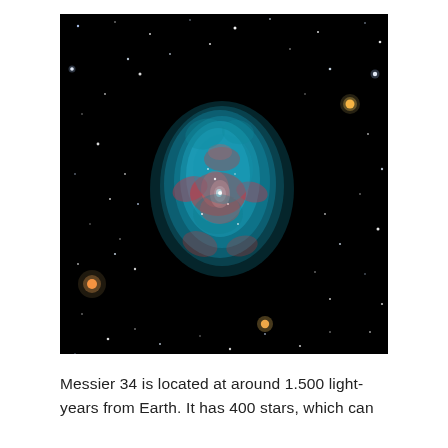[Figure (photo): Astronomical photograph of a planetary nebula (resembling a skull or bubble shape) glowing in cyan/teal and red/pink hues, surrounded by numerous stars against a black background. The nebula is centrally positioned in the image.]
Messier 34 is located at around 1.500 light-years from Earth. It has 400 stars, which can